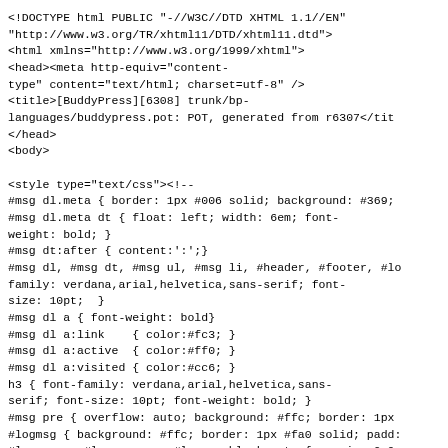<!DOCTYPE html PUBLIC "-//W3C//DTD XHTML 1.1//EN"
"http://www.w3.org/TR/xhtml11/DTD/xhtml11.dtd">
<html xmlns="http://www.w3.org/1999/xhtml">
<head><meta http-equiv="content-type" content="text/html; charset=utf-8" />
<title>[BuddyPress][6308] trunk/bp-languages/buddypress.pot: POT, generated from r6307</title>
</head>
<body>

<style type="text/css"><!--
#msg dl.meta { border: 1px #006 solid; background: #369;
#msg dl.meta dt { float: left; width: 6em; font-weight: bold; }
#msg dt:after { content:':';}
#msg dl, #msg dt, #msg ul, #msg li, #header, #footer, #lo family: verdana,arial,helvetica,sans-serif; font-size: 10pt;  }
#msg dl a { font-weight: bold}
#msg dl a:link    { color:#fc3; }
#msg dl a:active  { color:#ff0; }
#msg dl a:visited { color:#cc6; }
h3 { font-family: verdana,arial,helvetica,sans-serif; font-size: 10pt; font-weight: bold; }
#msg pre { overflow: auto; background: #ffc; border: 1px
#logmsg { background: #ffc; border: 1px #fa0 solid; padd:
#logmsg p, #logmsg pre, #logmsg blockquote { margin: 0 0
#logmsg p, #logmsg li, #logmsg dt, #logmsg dd { line-height: 14pt; }
#logmsg h1, #logmsg h2, #logmsg h3, #logmsg h4, #logms